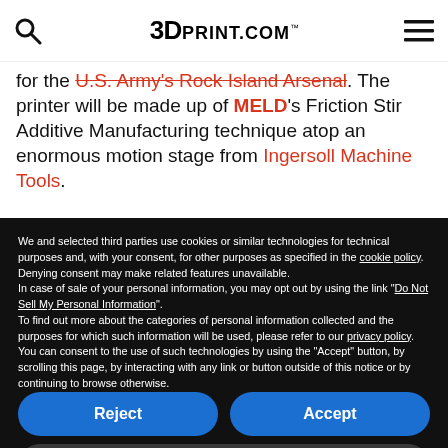3DPRINT.COM
for the U.S. Army's Rock Island Arsenal. The printer will be made up of MELD's Friction Stir Additive Manufacturing technique atop an enormous motion stage from Ingersoll Machine Tools.
We and selected third parties use cookies or similar technologies for technical purposes and, with your consent, for other purposes as specified in the cookie policy. Denying consent may make related features unavailable.
In case of sale of your personal information, you may opt out by using the link "Do Not Sell My Personal Information".
To find out more about the categories of personal information collected and the purposes for which such information will be used, please refer to our privacy policy. You can consent to the use of such technologies by using the "Accept" button, by scrolling this page, by interacting with any link or button outside of this notice or by continuing to browse otherwise.
Reject
Accept
Learn more and customize